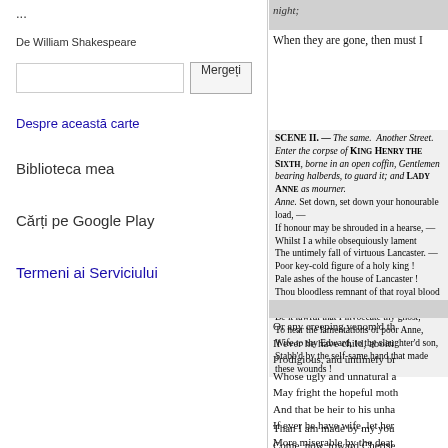...
De William Shakespeare
Mergeți
Despre această carte
Biblioteca mea
Cărți pe Google Play
Termeni ai Serviciului
When they are gone, then must I
SCENE II. — The same. Another Street. Enter the corpse of King Henry the Sixth, borne in an open coffin, Gentlemen bearing halberds, to guard it; and Lady Anne as mourner. Anne. Set down, set down your honourable load, — If honour may be shrouded in a hearse, — Whilst I a while obsequiously lament The untimely fall of virtuous Lancaster. — Poor key-cold figure of a holy king ! Pale ashes of the house of Lancaster ! Thou bloodless remnant of that royal blood ! Be it lawful that I invoecate thy ghost, To hear the lamentations of poor Anne, Wife to thy Edward, to thy slaughter'd son, Stabb'd by the self-same hand that made these wounds !
Or any creeping venom'd th
If ever he have child, aboiti
Prodigious, and untimely br
Whose ugly and unnatural a
May fright the hopeful moth
And that be heir to his unha
If ever he have wife, let her
More miserable by the deat
Than I am made by my you
Come, now, toward Chertse
Taken from Paul's to be in